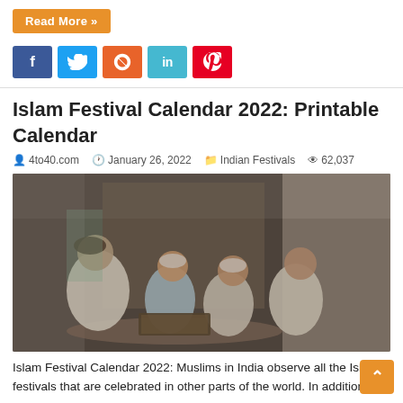Read More »
[Figure (other): Social sharing buttons: Facebook (blue), Twitter (light blue), StumbleUpon (orange-red), LinkedIn (teal), Pinterest (red)]
Islam Festival Calendar 2022: Printable Calendar
4to40.com   January 26, 2022   Indian Festivals   62,037
[Figure (photo): A Muslim man in white clothes and cap sitting with three young boys in white caps, studying or reading together on the floor of what appears to be a mosque corridor.]
Islam Festival Calendar 2022: Muslims in India observe all the Islamic festivals that are celebrated in other parts of the world. In addition to